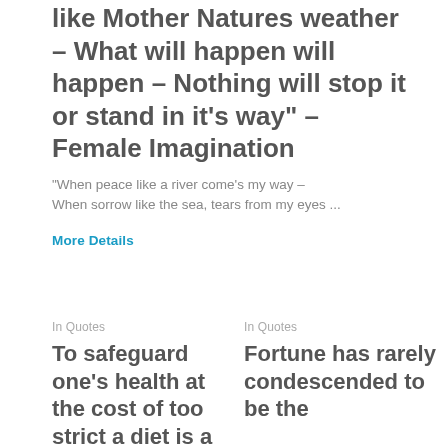like Mother Natures weather – What will happen will happen – Nothing will stop it or stand in it's way" – Female Imagination
"When peace like a river come's my way – When sorrow like the sea, tears from my eyes ...
More Details
In Quotes
To safeguard one's health at the cost of too strict a diet is a
In Quotes
Fortune has rarely condescended to be the